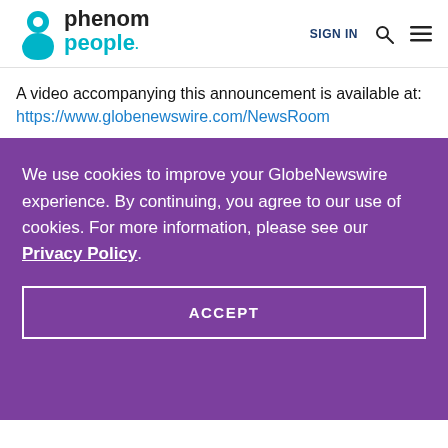phenom people. SIGN IN
A video accompanying this announcement is available at: https://www.globenewswire.com/NewsRoom
We use cookies to improve your GlobeNewswire experience. By continuing, you agree to our use of cookies. For more information, please see our Privacy Policy.
ACCEPT